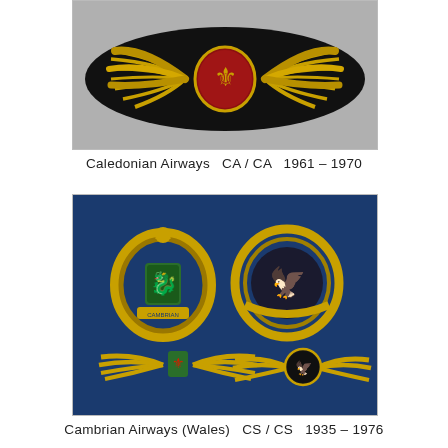[Figure (photo): A gold bullion embroidered wing badge with a red oval center bearing a rampant lion, on a black background. Caledonian Airways pilot wings.]
Caledonian Airways   CA / CA   1961 – 1970
[Figure (photo): Four airline badges on a blue background: top-left is a gold wreath badge with a red Welsh dragon shield and 'Cambrian' scroll; top-right is a gold laurel wreath surrounding a dark circle with an orange winged horse logo; bottom-left is a gold wing badge with a Welsh dragon shield center; bottom-right is a gold wing badge with a dark circle center bearing an orange winged horse logo.]
Cambrian Airways (Wales)   CS / CS   1935 – 1976